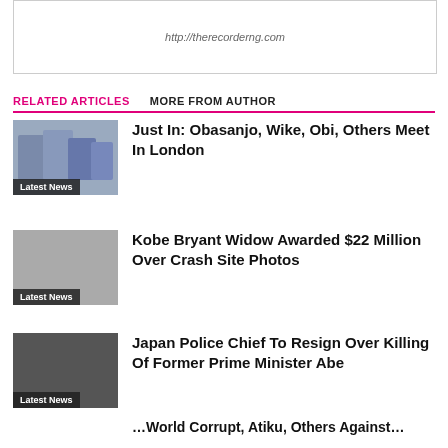http://therecorderng.com
RELATED ARTICLES   MORE FROM AUTHOR
Just In: Obasanjo, Wike, Obi, Others Meet In London
Latest News
Kobe Bryant Widow Awarded $22 Million Over Crash Site Photos
Latest News
Japan Police Chief To Resign Over Killing Of Former Prime Minister Abe
Latest News
…World Corrupt, Atiku, Others Against…